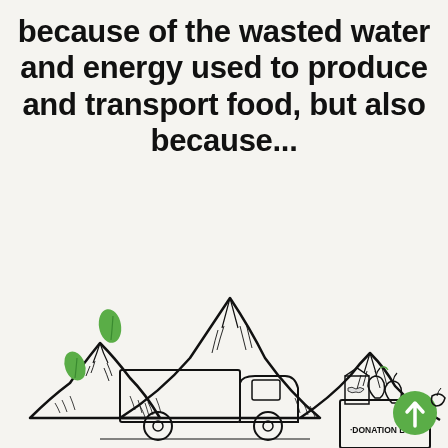because of the wasted water and energy used to produce and transport food, but also because...
[Figure (illustration): Hand-drawn illustration of mountains with green leaves/plants growing on them, a delivery truck, a donation box filled with a milk carton and apples, and a green circular arrow-up button in the bottom right corner. The donation box is labeled '·DONATION BOX·'.]